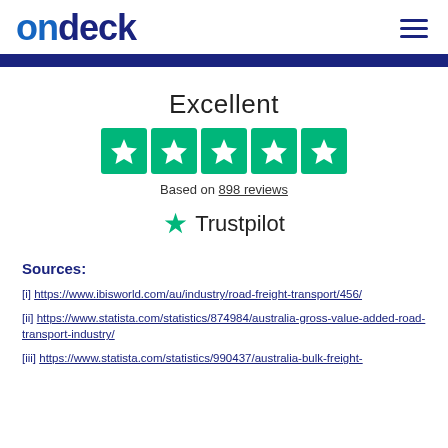ondeck
[Figure (other): Trustpilot rating widget showing 'Excellent' with 5 green stars and 'Based on 898 reviews' and Trustpilot logo]
Sources:
[i] https://www.ibisworld.com/au/industry/road-freight-transport/456/
[ii] https://www.statista.com/statistics/874984/australia-gross-value-added-road-transport-industry/
[iii] https://www.statista.com/statistics/990437/australia-bulk-freight-